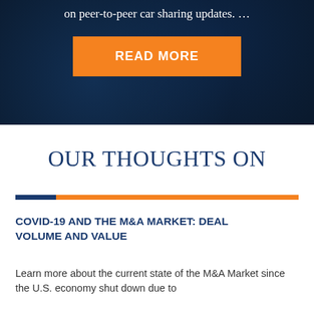on peer-to-peer car sharing updates. …
[Figure (other): Orange 'READ MORE' button on dark navy background with network/node pattern]
OUR THOUGHTS ON
COVID-19 AND THE M&A MARKET: DEAL VOLUME AND VALUE
Learn more about the current state of the M&A Market since the U.S. economy shut down due to